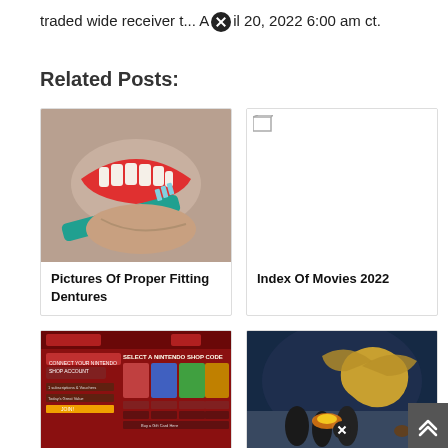traded wide receiver t... April 20, 2022 6:00 am ct.
Related Posts:
[Figure (photo): Hands holding dentures against a toothbrush]
Pictures Of Proper Fitting Dentures
[Figure (photo): Broken/missing image placeholder]
Index Of Movies 2022
[Figure (screenshot): Red website screenshot showing Nintendo eShop codes]
[Figure (photo): Fantasy game scene with monster and warriors in snow]